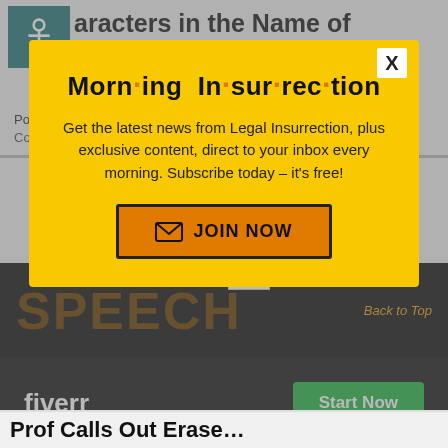MrB Makes Changes to Characters in the Name of 'Inclusiveness'
Posted by Stacey Matthews on January 23, 2022 59 Comments
[Figure (screenshot): Modal popup newsletter signup overlay on a website. Yellow background modal titled 'Morn·ing In·sur·rec·tion' with body text 'Get the latest news from Legal Insurrection, plus exclusive content, direct to your inbox every morning. Subscribe today – it's free!' and an orange JOIN NOW button. Behind the modal is article content and a dark strip with SPEECH text and fiverr advertisement.]
fiverr
Start Now
Prof Calls Out Erase...